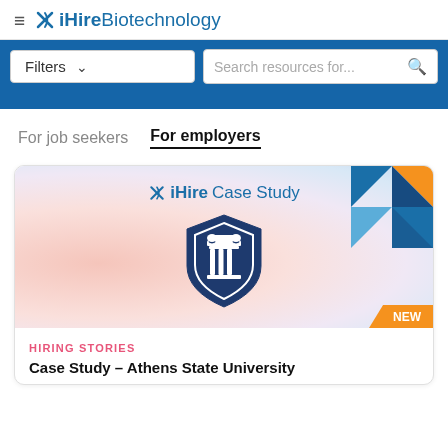≡ ✕ iHire Biotechnology
Filters ▾   Search resources for...
For job seekers   For employers
[Figure (screenshot): iHire Case Study card with Athens State University shield logo, geometric corner decoration in orange and blue, NEW badge. Labeled HIRING STORIES. Title: Case Study – Athens State University]
HIRING STORIES
Case Study – Athens State University